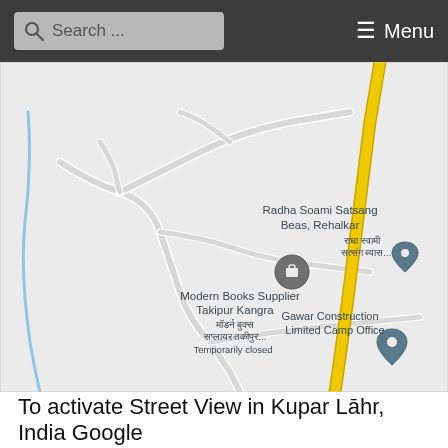[Figure (screenshot): Navigation bar with search box and menu button on dark background]
[Figure (map): Google Maps screenshot showing a road map of Kupar Lahr area in India with locations: Gawar Construction Limited Camp Office, Radha Soami Satsang Beas Rehalkar, Modern Books Supplier Takipur Kangra (Temporarily closed). A yellow highway runs vertically through the map. Gray winding roads and a blue river line are visible.]
To activate Street View in Kupar Lāhr, India Google